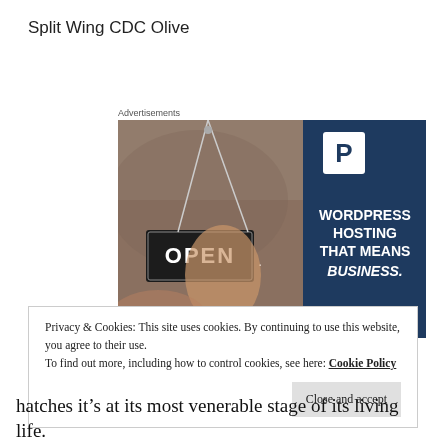Split Wing CDC Olive
Advertisements
[Figure (photo): Advertisement for WordPress hosting showing a smiling woman holding an OPEN sign, with dark navy panel reading 'WORDPRESS HOSTING THAT MEANS BUSINESS.' and a P logo]
Privacy & Cookies: This site uses cookies. By continuing to use this website, you agree to their use.
To find out more, including how to control cookies, see here: Cookie Policy
Close and accept
hatches it’s at its most venerable stage of its living life.